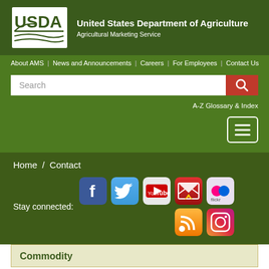[Figure (logo): USDA logo with text 'United States Department of Agriculture, Agricultural Marketing Service']
About AMS | News and Announcements | Careers | For Employees | Contact Us
Search
A-Z Glossary & Index
Home / Contact
Stay connected:
[Figure (infographic): Social media icons: Facebook, Twitter, YouTube, Email, Flickr, RSS, Instagram]
Commodity